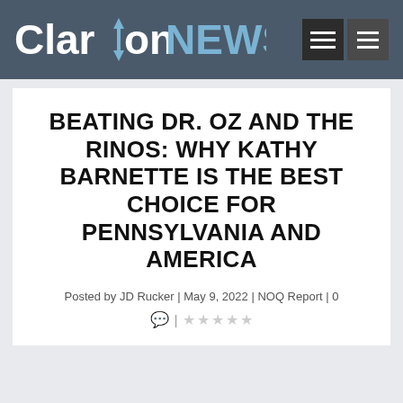Clarion NEWS
BEATING DR. OZ AND THE RINOS: WHY KATHY BARNETTE IS THE BEST CHOICE FOR PENNSYLVANIA AND AMERICA
Posted by JD Rucker | May 9, 2022 | NOQ Report | 0